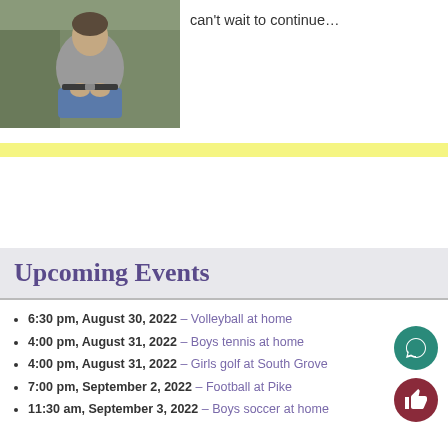[Figure (photo): Person sitting outdoors in blue clothing, with greenery/bushes in the background]
can't wait to continue…
Upcoming Events
6:30 pm, August 30, 2022 – Volleyball at home
4:00 pm, August 31, 2022 – Boys tennis at home
4:00 pm, August 31, 2022 – Girls golf at South Grove
7:00 pm, September 2, 2022 – Football at Pike
11:30 am, September 3, 2022 – Boys soccer at home